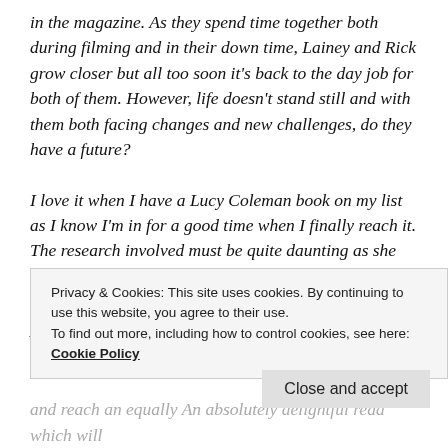in the magazine. As they spend time together both during filming and in their down time, Lainey and Rick grow closer but all too soon it's back to the day job for both of them. However, life doesn't stand still and with them both facing changes and new challenges, do they have a future?

I love it when I have a Lucy Coleman book on my list as I know I'm in for a good time when I finally reach it. The research involved must be quite daunting as she has the knack of describing foreign parts as the most desirable place to be and I learn so much about the people, the countryside, the culture and the cuisine. As we near the end
Privacy & Cookies: This site uses cookies. By continuing to use this website, you agree to their use.
To find out more, including how to control cookies, see here: Cookie Policy
and reach an equally An absolutely delightful read which will